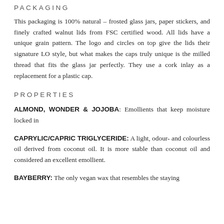PACKAGING
This packaging is 100% natural – frosted glass jars, paper stickers, and finely crafted walnut lids from FSC certified wood. All lids have a unique grain pattern. The logo and circles on top give the lids their signature LO style, but what makes the caps truly unique is the milled thread that fits the glass jar perfectly. They use a cork inlay as a replacement for a plastic cap.
PROPERTIES
ALMOND, WONDER & JOJOBA: Emollients that keep moisture locked in
CAPRYLIC/CAPRIC TRIGLYCERIDE: A light, odour- and colourless oil derived from coconut oil. It is more stable than coconut oil and considered an excellent emollient.
BAYBERRY: The only vegan wax that resembles the staying